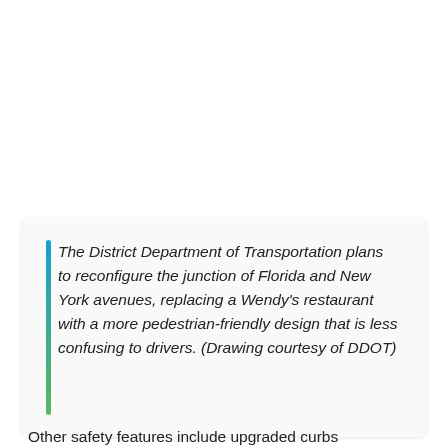The District Department of Transportation plans to reconfigure the junction of Florida and New York avenues, replacing a Wendy's restaurant with a more pedestrian-friendly design that is less confusing to drivers. (Drawing courtesy of DDOT)
Other safety features include upgraded curbs